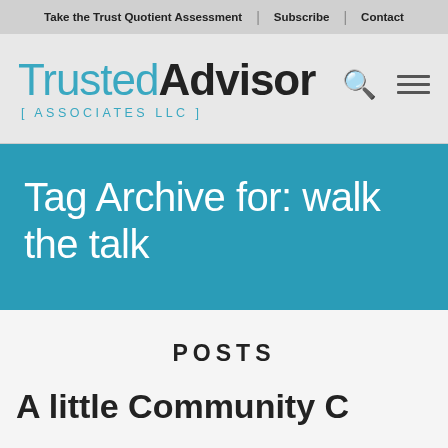Take the Trust Quotient Assessment | Subscribe | Contact
[Figure (logo): TrustedAdvisor Associates LLC logo with teal 'Trusted' and bold dark 'Advisor' text, search icon and hamburger menu icon]
Tag Archive for: walk the talk
POSTS
A little Community C...